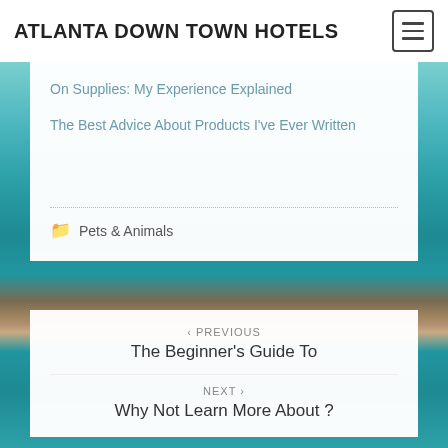ATLANTA DOWN TOWN HOTELS
On Supplies: My Experience Explained
The Best Advice About Products I've Ever Written
Pets & Animals
< PREVIOUS
The Beginner's Guide To
NEXT ›
Why Not Learn More About ?